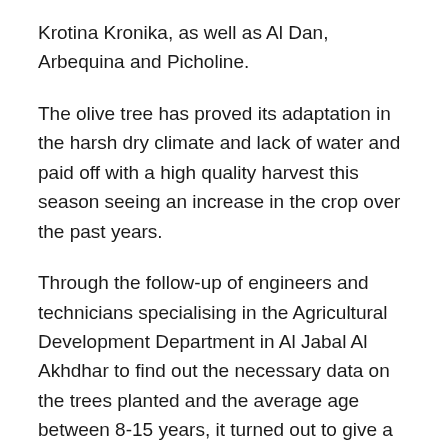Krotina Kronika, as well as Al Dan, Arbequina and Picholine.
The olive tree has proved its adaptation in the harsh dry climate and lack of water and paid off with a high quality harvest this season seeing an increase in the crop over the past years.
Through the follow-up of engineers and technicians specialising in the Agricultural Development Department in Al Jabal Al Akhdhar to find out the necessary data on the trees planted and the average age between 8-15 years, it turned out to give a good fruit, as the average production of the oldest tree amounted to 490kg of olives.
The olive tree is considered one of the perennial trees of the olive family and it is an evergreen tree and is found on